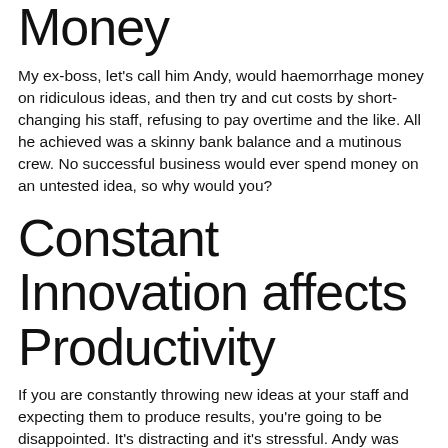Money
My ex-boss, let's call him Andy, would haemorrhage money on ridiculous ideas, and then try and cut costs by short-changing his staff, refusing to pay overtime and the like. All he achieved was a skinny bank balance and a mutinous crew. No successful business would ever spend money on an untested idea, so why would you?
Constant Innovation affects Productivity
If you are constantly throwing new ideas at your staff and expecting them to produce results, you're going to be disappointed. It's distracting and it's stressful. Andy was brilliant at it. I swear the man didn't sleep. Every day he had a new angle, another spin on a lame